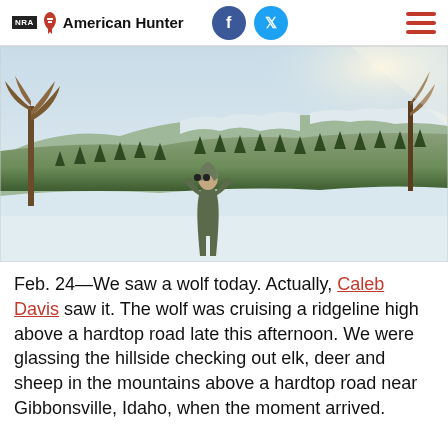NRA American Hunter
[Figure (photo): Person standing in snow-covered landscape using binoculars, with snow-dusted forested mountain ridgeline in background under bright sunlight.]
Feb. 24—We saw a wolf today. Actually, Caleb Davis saw it. The wolf was cruising a ridgeline high above a hardtop road late this afternoon. We were glassing the hillside checking out elk, deer and sheep in the mountains above a hardtop road near Gibbonsville, Idaho, when the moment arrived.